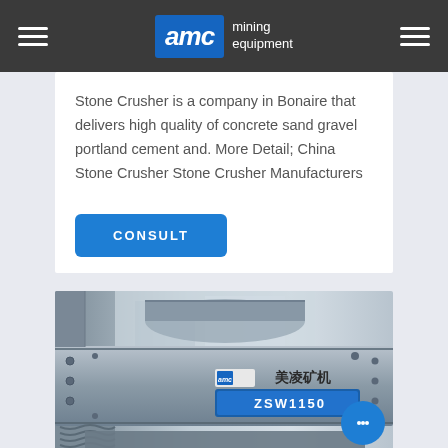AMC mining equipment
Stone Crusher is a company in Bonaire that delivers high quality of concrete sand gravel portland cement and. More Detail; China Stone Crusher Stone Crusher Manufacturers
CONSULT
[Figure (photo): Close-up photo of industrial mining equipment, specifically a vibrating feeder or screen component labeled ZSW1150, with Chinese text 美凌矿机 and AMC branding visible on a metal plate. Industrial machinery with bolts, springs, and structural steel components.]